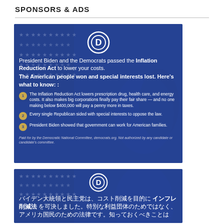SPONSORS & ADS
[Figure (infographic): Democratic Party political ad for the Inflation Reduction Act. Shows the Democratic 'D' logo, headline about President Biden and the Democrats passing the Inflation Reduction Act to lower costs, subheadline about the American people winning and special interests losing, three numbered points about the law, and a disclaimer paid for by the Democratic National Committee.]
[Figure (infographic): Same Democratic Party political ad as above but translated into Japanese (バイデン大統領と民主党は、コスト削減を目的にインフレ削減法を可決しました。特別な利益団体のためではなく、アメリカ国民のための法律です。知っておくべきことは). Shows the Democratic 'D' logo at top.]